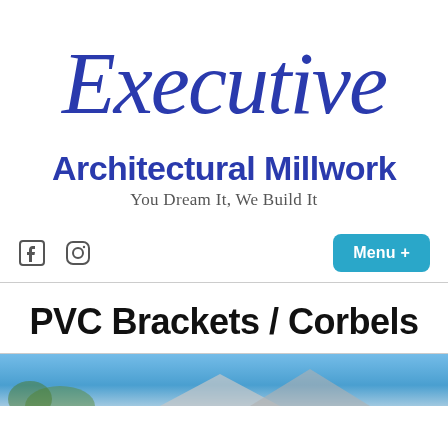[Figure (logo): Executive Architectural Millwork logo with script 'Executive' text in blue, bold sans-serif 'Architectural Millwork' text, and tagline 'You Dream It, We Build It']
[Figure (infographic): Navigation bar with Facebook and Instagram social icons on the left, and a teal 'Menu +' button on the right]
PVC Brackets / Corbels
[Figure (photo): Partial photo strip at bottom showing a blue sky and roofline, cropped]